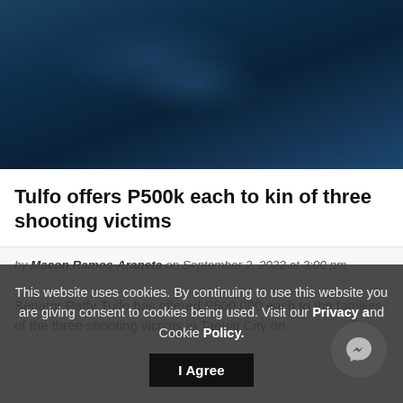[Figure (photo): Dark blue textured background image, article hero image]
Tulfo offers P500k each to kin of three shooting victims
by Macon Ramos-Araneta on September 2, 2022 at 3:00 pm
Senator Raffy Tulfo has offered P500,000 each to the families of the three shooting victims in Taguig City on
This website uses cookies. By continuing to use this website you are giving consent to cookies being used. Visit our Privacy and Cookie Policy.
I Agree